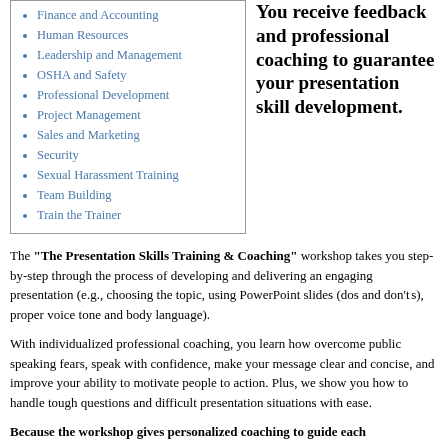Finance and Accounting
Human Resources
Leadership and Management
OSHA and Safety
Professional Development
Project Management
Sales and Marketing
Security
Sexual Harassment Training
Team Building
Train the Trainer
You receive feedback and professional coaching to guarantee your presentation skill development.
The “The Presentation Skills Training & Coaching” workshop takes you step-by-step through the process of developing and delivering an engaging presentation (e.g., choosing the topic, using PowerPoint slides (dos and don’ts), proper voice tone and body language).
With individualized professional coaching, you learn how overcome public speaking fears, speak with confidence, make your message clear and concise, and improve your ability to motivate people to action. Plus, we show you how to handle tough questions and difficult presentation situations with ease.
Because the workshop gives personalized coaching to guide each